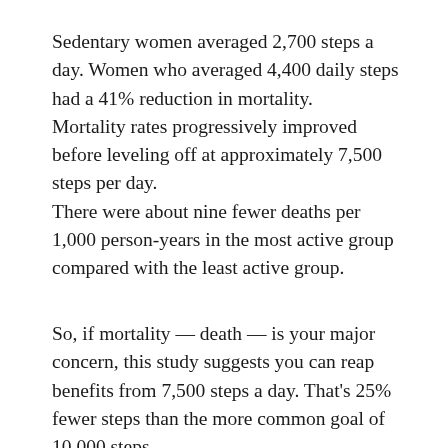Sedentary women averaged 2,700 steps a day. Women who averaged 4,400 daily steps had a 41% reduction in mortality. Mortality rates progressively improved before leveling off at approximately 7,500 steps per day. There were about nine fewer deaths per 1,000 person-years in the most active group compared with the least active group.
So, if mortality — death — is your major concern, this study suggests you can reap benefits from 7,500 steps a day. That's 25% fewer steps than the more common goal of 10,000 steps.